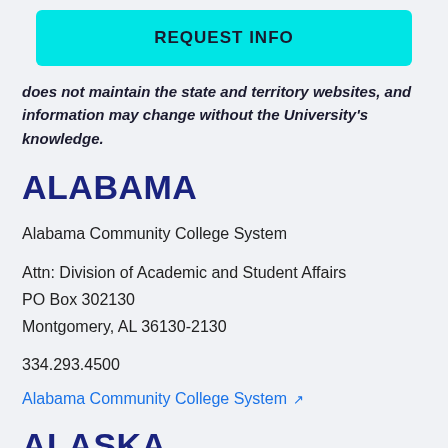[Figure (other): Cyan/teal REQUEST INFO button]
does not maintain the state and territory websites, and information may change without the University's knowledge.
ALABAMA
Alabama Community College System
Attn: Division of Academic and Student Affairs
PO Box 302130
Montgomery, AL 36130-2130
334.293.4500
Alabama Community College System ↗
ALASKA